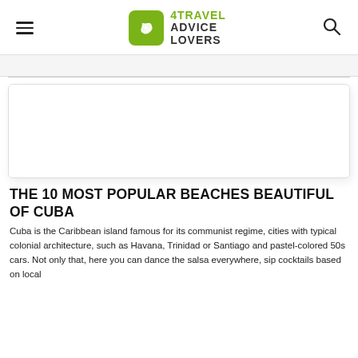4TRAVEL ADVICE LOVERS
[Figure (photo): White empty image placeholder area with border and shadow, representing article hero image]
THE 10 MOST POPULAR BEACHES BEAUTIFUL OF CUBA
Cuba is the Caribbean island famous for its communist regime, cities with typical colonial architecture, such as Havana, Trinidad or Santiago and pastel-colored 50s cars. Not only that, here you can dance the salsa everywhere, sip cocktails based on local